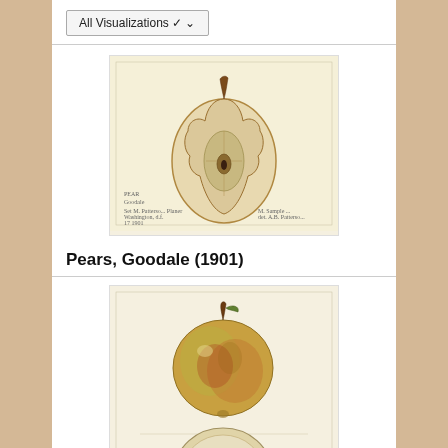All Visualizations ▾
[Figure (illustration): Botanical watercolor illustration of a cross-section of a Goodale pear on a cream/tan background, with handwritten annotations at the bottom.]
Pears, Goodale (1901)
[Figure (illustration): Botanical watercolor illustration showing a whole golden-green apple and a cross-section apple half below it, on a cream background with handwritten annotations at the bottom.]